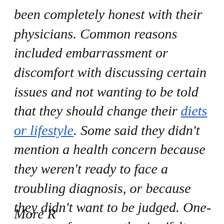been completely honest with their physicians. Common reasons included embarrassment or discomfort with discussing certain issues and not wanting to be told that they should change their diets or lifestyle. Some said they didn't mention a health concern because they weren't ready to face a troubling diagnosis, or because they didn't want to be judged. One-quarter of men say they've 'felt judged' by their doctors."
More Research...